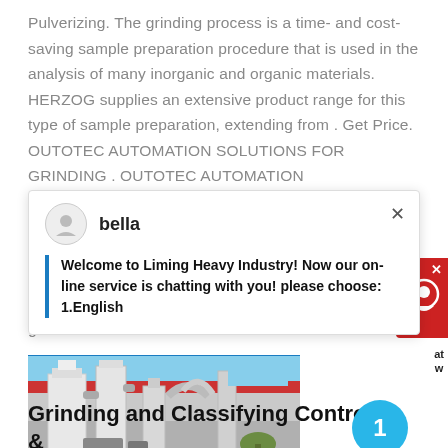Pulverizing. The grinding process is a time- and cost-saving sample preparation procedure that is used in the analysis of many inorganic and organic materials. HERZOG supplies an extensive product range for this type of sample preparation, extending from . Get Price. OUTOTEC AUTOMATION SOLUTIONS FOR GRINDING . OUTOTEC AUTOMATION
bella
Welcome to Liming Heavy Industry! Now our on-line service is chatting with you! please choose: 1.English
[Figure (photo): Industrial grinding and classifying equipment facility with large white silos and metal pipes outside a building with a red roof, photographed in daylight.]
Grinding and Classifying Control & Automation Sterling